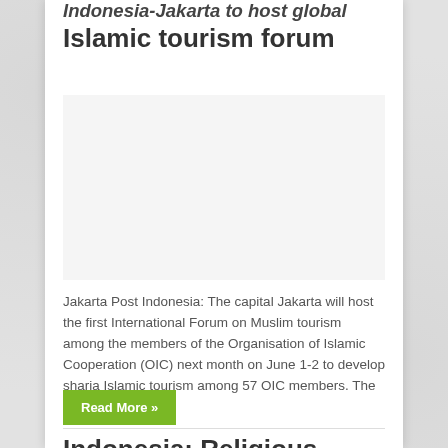Indonesia-Jakarta to host global Islamic tourism forum
[Figure (photo): Image placeholder area for article photo]
Jakarta Post Indonesia: The capital Jakarta will host the first International Forum on Muslim tourism among the members of the Organisation of Islamic Cooperation (OIC) next month on June 1-2 to develop sharia Islamic tourism among 57 OIC members. The ...
Read More »
Indonesia: Religious minister: Govt